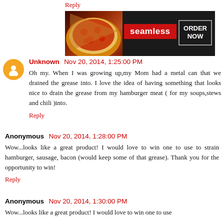Reply
[Figure (screenshot): Seamless food ordering advertisement banner showing pizza and 'ORDER NOW' button]
Unknown  Nov 20, 2014, 1:25:00 PM
Oh my. When I was growing up,my Mom had a metal can that we drained the grease into. I love the idea of having something that looks nice to drain the grease from my hamburger meat ( for my soups,stews and chili )into.
Reply
Anonymous  Nov 20, 2014, 1:28:00 PM
Wow...looks like a great product! I would love to win one to use to strain hamburger, sausage, bacon (would keep some of that grease). Thank you for the opportunity to win!
Reply
Anonymous  Nov 20, 2014, 1:30:00 PM
Wow...looks like a great product! I would love to win one to use